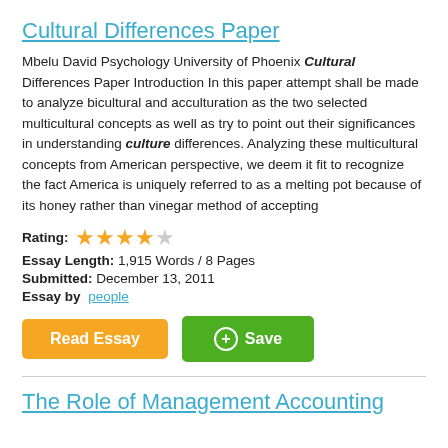Cultural Differences Paper
Mbelu David Psychology University of Phoenix Cultural Differences Paper Introduction In this paper attempt shall be made to analyze bicultural and acculturation as the two selected multicultural concepts as well as try to point out their significances in understanding culture differences. Analyzing these multicultural concepts from American perspective, we deem it fit to recognize the fact America is uniquely referred to as a melting pot because of its honey rather than vinegar method of accepting
Rating: ★★★★☆
Essay Length: 1,915 Words / 8 Pages
Submitted: December 13, 2011
Essay by people
[Figure (other): Read Essay button (orange) and Save button (green with plus circle icon)]
The Role of Management Accounting